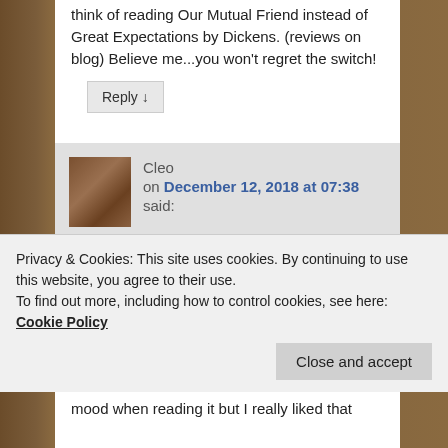think of reading Our Mutual Friend instead of Great Expectations by Dickens. (reviews on blog) Believe me...you won't regret the switch!
Reply ↓
Cleo on December 12, 2018 at 07:38 said:
Really?! It was that good? I'm going to go have a look at your Great Expectations review too. I'm wondering if Our Mutual Friend is so good that I should save it until
Privacy & Cookies: This site uses cookies. By continuing to use this website, you agree to their use.
To find out more, including how to control cookies, see here: Cookie Policy
Close and accept
mood when reading it but I really liked that